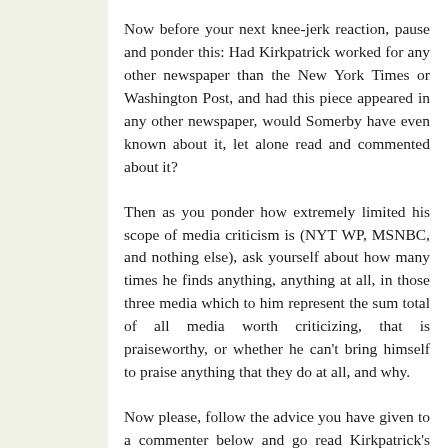Now before your next knee-jerk reaction, pause and ponder this: Had Kirkpatrick worked for any other newspaper than the New York Times or Washington Post, and had this piece appeared in any other newspaper, would Somerby have even known about it, let alone read and commented about it?
Then as you ponder how extremely limited his scope of media criticism is (NYT WP, MSNBC, and nothing else), ask yourself about how many times he finds anything, anything at all, in those three media which to him represent the sum total of all media worth criticizing, that is praiseworthy, or whether he can't bring himself to praise anything that they do at all, and why.
Now please, follow the advice you have given to a commenter below and go read Kirkpatrick's piece. Then compare and contrast that with the Oct. 27 piece on 60 minutes, a truly sloppy, horrible work that Bob commented on exactly ONCE and nearly two weeks after it aired.